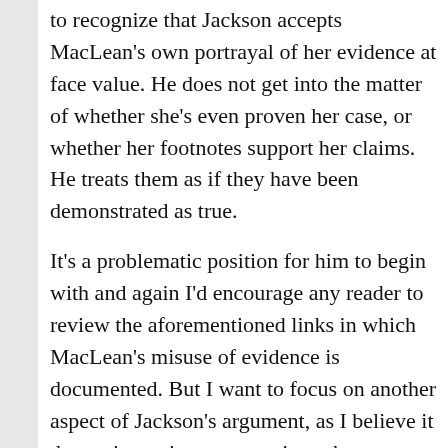to recognize that Jackson accepts MacLean's own portrayal of her evidence at face value. He does not get into the matter of whether she's even proven her case, or whether her footnotes support her claims. He treats them as if they have been demonstrated as true.
It's a problematic position for him to begin with and again I'd encourage any reader to review the aforementioned links in which MacLean's misuse of evidence is documented. But I want to focus on another aspect of Jackson's argument, as I believe it does raise an important point: what was Buchanan's